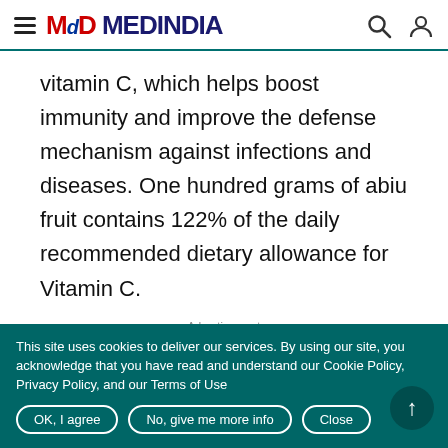MEDINDIA
vitamin C, which helps boost immunity and improve the defense mechanism against infections and diseases. One hundred grams of abiu fruit contains 122% of the daily recommended dietary allowance for Vitamin C.
Advertisement
Rich in Vitamin B3
This site uses cookies to deliver our services. By using our site, you acknowledge that you have read and understand our Cookie Policy, Privacy Policy, and our Terms of Use